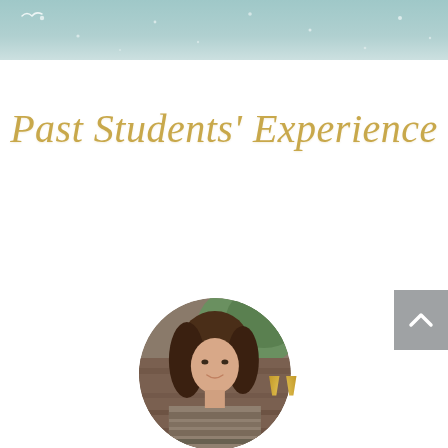[Figure (illustration): Teal/mint decorative header band with small bird silhouettes and light speckles]
Past Students' Experience
[Figure (photo): Circular cropped portrait photo of a young woman with long brown hair, smiling, outdoors with green foliage background and wooden textures]
[Figure (illustration): Large golden/yellow decorative opening quotation marks]
[Figure (illustration): Gray scroll-to-top button with upward-pointing arrow chevron on right side]